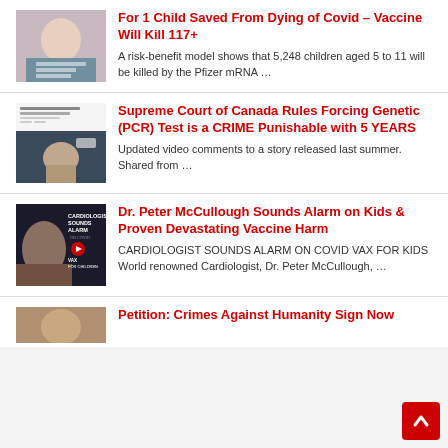For 1 Child Saved From Dying of Covid – Vaccine Will Kill 117+
A risk-benefit model shows that 5,248 children aged 5 to 11 will be killed by the Pfizer mRNA …
Supreme Court of Canada Rules Forcing Genetic (PCR) Test is a CRIME Punishable with 5 YEARS
Updated video comments to a story released last summer. Shared from …
Dr. Peter McCullough Sounds Alarm on Kids & Proven Devastating Vaccine Harm
CARDIOLOGIST SOUNDS ALARM ON COVID VAX FOR KIDS World renowned Cardiologist, Dr. Peter McCullough, …
Petition: Crimes Against Humanity Sign Now